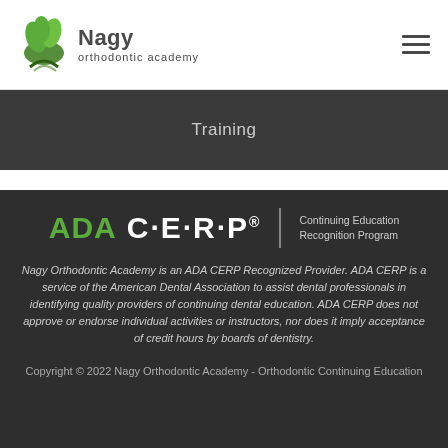[Figure (logo): Nagy Orthodontic Academy logo with green leaf/tree icon and text]
Training
[Figure (logo): ADA CERP - Continuing Education Recognition Program logo]
Nagy Orthodontic Academy is an ADA CERP Recognized Provider. ADA CERP is a service of the American Dental Association to assist dental professionals in identifying quality providers of continuing dental education. ADA CERP does not approve or endorse individual activities or instructors, nor does it imply acceptance of credit hours by boards of dentistry.
Copyright © 2022 Nagy Orthodontic Academy - Orthodontic Continuing Education